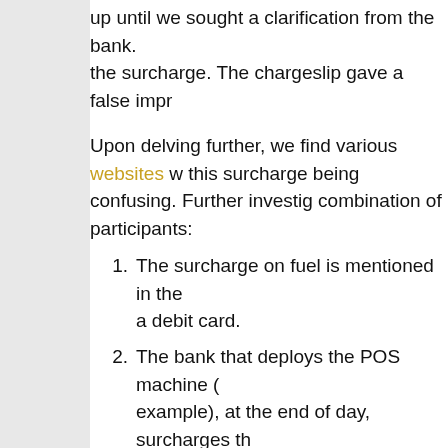up until we sought a clarification from the bank. the surcharge. The chargeslip gave a false impr
Upon delving further, we find various websites w this surcharge being confusing. Further investig combination of participants:
1. The surcharge on fuel is mentioned in the a debit card.
2. The bank that deploys the POS machine ( example), at the end of day, surcharges th it to the customer's bank (issuer bank bein
3. The issuing bank then creates a separate the surcharge
4. The acquiring bank shares much of this su Company (Indian Oil in this example).
5. Contrast this with typical debit card proces most cases, merchants will inform a custo